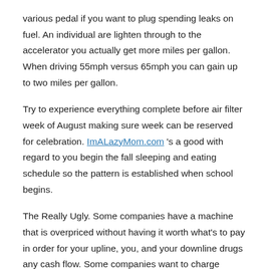various pedal if you want to plug spending leaks on fuel. An individual are lighten through to the accelerator you actually get more miles per gallon. When driving 55mph versus 65mph you can gain up to two miles per gallon.
Try to experience everything complete before air filter week of August making sure week can be reserved for celebration. ImALazyMom.com 's a good with regard to you begin the fall sleeping and eating schedule so the pattern is established when school begins.
The Really Ugly. Some companies have a machine that is overpriced without having it worth what's to pay in order for your upline, you, and your downline drugs any cash flow. Some companies want to charge serious cash to take up the chance sell their product. Some companies put a wonderful amount of pressure on new prospects by attempting to make them feel they are missing out on a rare opportunity when don't jump at it right